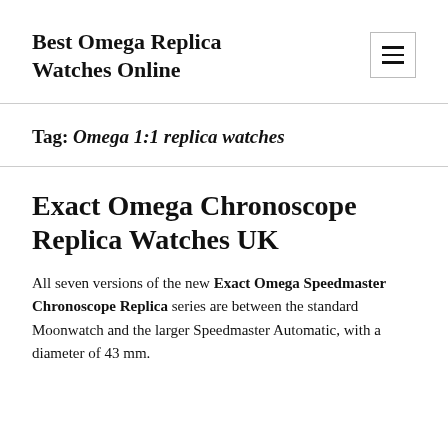Best Omega Replica Watches Online
Tag: Omega 1:1 replica watches
Exact Omega Chronoscope Replica Watches UK
All seven versions of the new Exact Omega Speedmaster Chronoscope Replica series are between the standard Moonwatch and the larger Speedmaster Automatic, with a diameter of 43 mm.